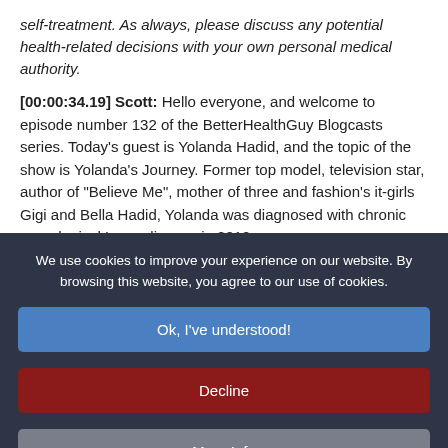self-treatment. As always, please discuss any potential health-related decisions with your own personal medical authority.
[00:00:34.19] Scott: Hello everyone, and welcome to episode number 132 of the BetterHealthGuy Blogcasts series. Today's guest is Yolanda Hadid, and the topic of the show is Yolanda's Journey. Former top model, television star, author of "Believe Me", mother of three and fashion's it-girls Gigi and Bella Hadid, Yolanda was diagnosed with chronic neurological Lyme disease in 2012.
The invisible disease ravaged her personal and professional life,
We use cookies to improve your experience on our website. By browsing this website, you agree to our use of cookies.
Ok, I've understood!
Decline
More Info